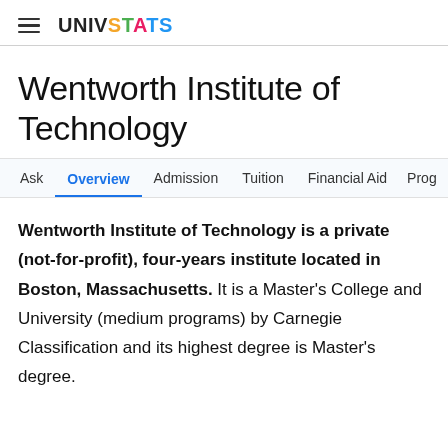UNIVSTATS
Wentworth Institute of Technology
Ask  Overview  Admission  Tuition  Financial Aid  Prog
Wentworth Institute of Technology is a private (not-for-profit), four-years institute located in Boston, Massachusetts. It is a Master's College and University (medium programs) by Carnegie Classification and its highest degree is Master's degree.